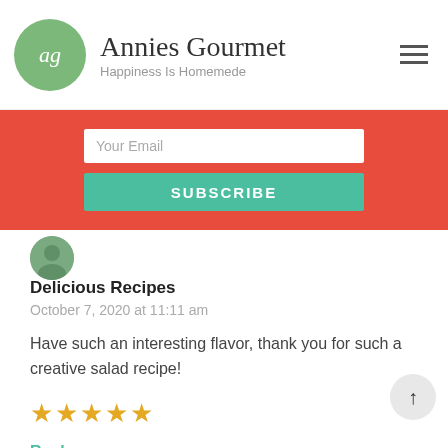Annies Gourmet — Happiness Is Homemede
[Figure (screenshot): Email subscription form with 'Your Email' input field and teal SUBSCRIBE button on a red background]
[Figure (photo): User avatar photo for commenter Delicious Recipes]
Delicious Recipes
October 7, 2020 at 11:11 am
Have such an interesting flavor, thank you for such a creative salad recipe!
[Figure (other): 5-star rating: 4 filled gold stars and 1 partially filled star]
Reply →